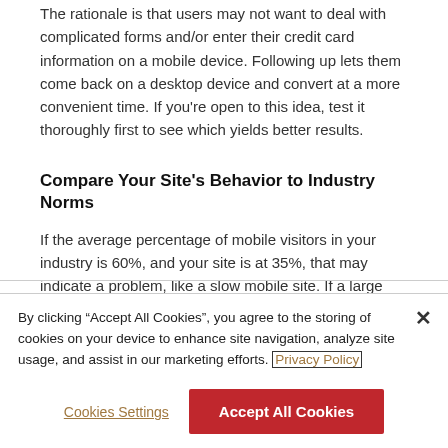The rationale is that users may not want to deal with complicated forms and/or enter their credit card information on a mobile device. Following up lets them come back on a desktop device and convert at a more convenient time. If you're open to this idea, test it thoroughly first to see which yields better results.
Compare Your Site's Behavior to Industry Norms
If the average percentage of mobile visitors in your industry is 60%, and your site is at 35%, that may indicate a problem, like a slow mobile site. If a large delta exists between your site and industry norms, take the time to understand why.
By clicking “Accept All Cookies”, you agree to the storing of cookies on your device to enhance site navigation, analyze site usage, and assist in our marketing efforts. Privacy Policy
Cookies Settings
Accept All Cookies